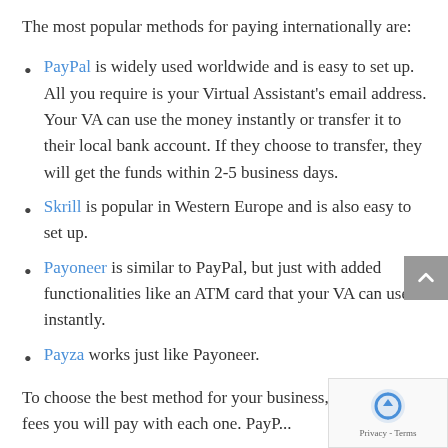The most popular methods for paying internationally are:
PayPal is widely used worldwide and is easy to set up. All you require is your Virtual Assistant's email address. Your VA can use the money instantly or transfer it to their local bank account. If they choose to transfer, they will get the funds within 2-5 business days.
Skrill is popular in Western Europe and is also easy to set up.
Payoneer is similar to PayPal, but just with added functionalities like an ATM card that your VA can use instantly.
Payza works just like Payoneer.
To choose the best method for your business, compare the fees you will pay with each one. PayP...